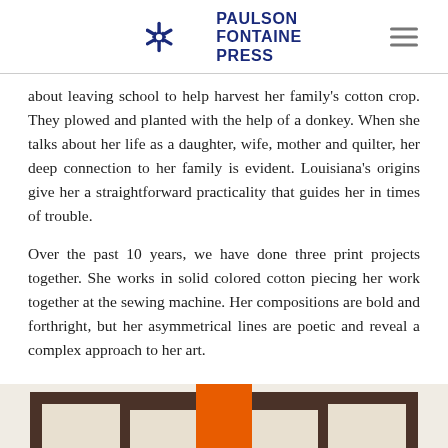Paulson Fontaine Press
about leaving school to help harvest her family’s cotton crop. They plowed and planted with the help of a donkey. When she talks about her life as a daughter, wife, mother and quilter, her deep connection to her family is evident. Louisiana’s origins give her a straightforward practicality that guides her in times of trouble.
Over the past 10 years, we have done three print projects together. She works in solid colored cotton piecing her work together at the sewing machine. Her compositions are bold and forthright, but her asymmetrical lines are poetic and reveal a complex approach to her art.
[Figure (photo): Partial view of a quilt artwork showing geometric shapes: dark brown rectangular borders framing cream/beige areas, with a central vertical orange rectangle stripe, on a light background.]